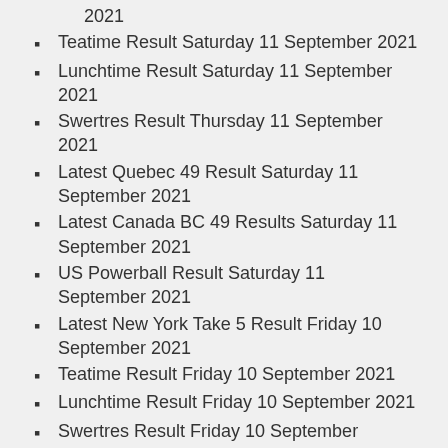Teatime Result Saturday 11 September 2021
Lunchtime Result Saturday 11 September 2021
Swertres Result Thursday 11 September 2021
Latest Quebec 49 Result Saturday 11 September 2021
Latest Canada BC 49 Results Saturday 11 September 2021
US Powerball Result Saturday 11 September 2021
Latest New York Take 5 Result Friday 10 September 2021
Teatime Result Friday 10 September 2021
Lunchtime Result Friday 10 September 2021
Swertres Result Friday 10 September